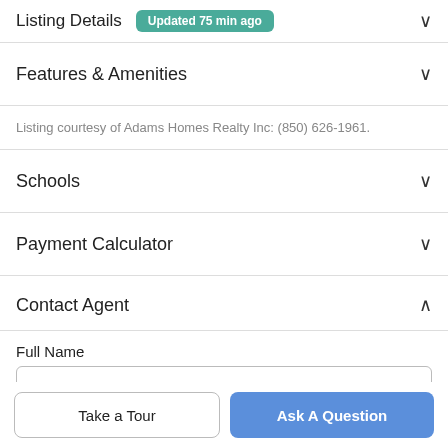Listing Details Updated 75 min ago
Features & Amenities
Listing courtesy of Adams Homes Realty Inc: (850) 626-1961.
Schools
Payment Calculator
Contact Agent
Full Name
Take a Tour
Ask A Question